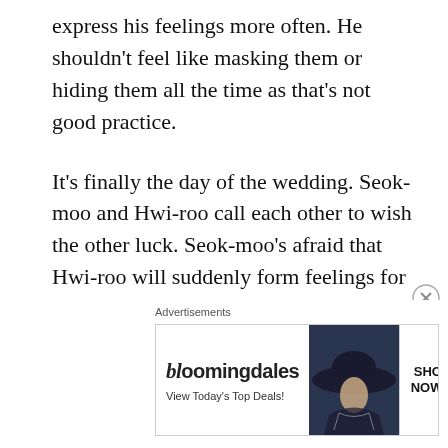express his feelings more often. He shouldn't feel like masking them or hiding them all the time as that's not good practice.
It's finally the day of the wedding. Seok-moo and Hwi-roo call each other to wish the other luck. Seok-moo's afraid that Hwi-roo will suddenly form feelings for Ki-wan since he'll be accompanying her on the trip. She assumes he's jealous, hehe. Hwi-roo also has a request for Seok-moo regarding his performance. Just then, Seok-moo is suddenly interrupted by a surprise visit from Jang-hyun.
[Figure (other): Bloomingdale's advertisement banner with woman wearing a wide-brim hat and text 'View Today's Top Deals!' and 'SHOP NOW >' button]